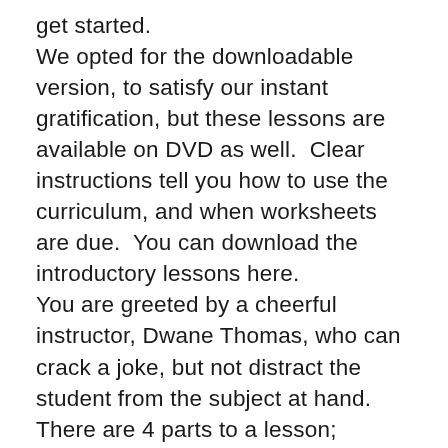get started.
We opted for the downloadable version, to satisfy our instant gratification, but these lessons are available on DVD as well.  Clear instructions tell you how to use the curriculum, and when worksheets are due.  You can download the introductory lessons here.
You are greeted by a cheerful instructor, Dwane Thomas, who can crack a joke, but not distract the student from the subject at hand. There are 4 parts to a lesson; Grammar, Sentences, Reading and Translation. Each part has a worksheet, and the video prompts the student when to do the worksheet. The videos are short and sweet and by lesson 4, my son was speaking to me in Latin. Like the website says, your child will be asking “Mom, can I do my Latin lesson now”?